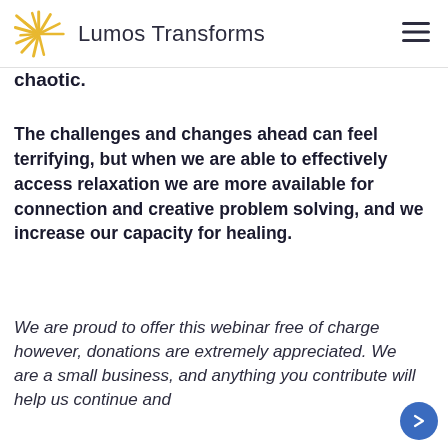Lumos Transforms
chaotic.
The challenges and changes ahead can feel terrifying, but when we are able to effectively access relaxation we are more available for connection and creative problem solving, and we increase our capacity for healing.
We are proud to offer this webinar free of charge however, donations are extremely appreciated. We are a small business, and anything you contribute will help us continue and